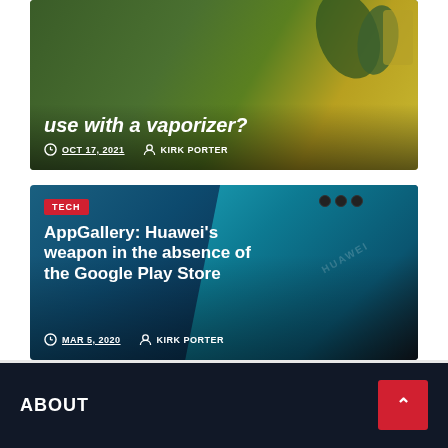use with a vaporizer?
OCT 17, 2021  KIRK PORTER
[Figure (photo): Huawei smartphone photo with teal/blue back panel showing triple camera array on dark background]
TECH
AppGallery: Huawei's weapon in the absence of the Google Play Store
MAR 5, 2020  KIRK PORTER
ABOUT